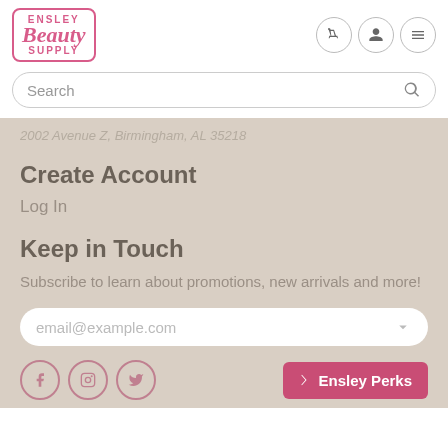[Figure (logo): Ensley Beauty Supply logo in pink with decorative script]
Search
2002 Avenue Z, Birmingham, AL 35218
Create Account
Log In
Keep in Touch
Subscribe to learn about promotions, new arrivals and more!
email@example.com
Ensley Perks